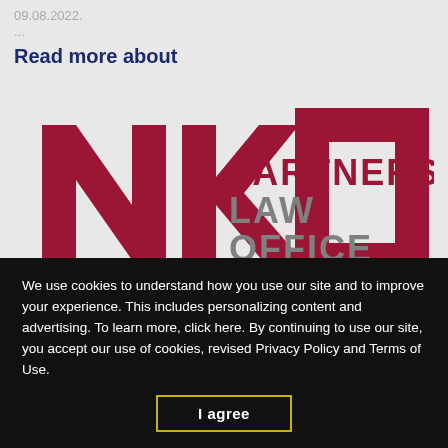09.08.2022.
...
Read more about
[Figure (logo): NKO Partners Law Office logo — geometric NKO monogram in dark red with 'PARTNERS LAW OFFICE' text in dark red and grey]
We use cookies to understand how you use our site and to improve your experience. This includes personalizing content and advertising. To learn more, click here. By continuing to use our site, you accept our use of cookies, revised Privacy Policy and Terms of Use.
I agree